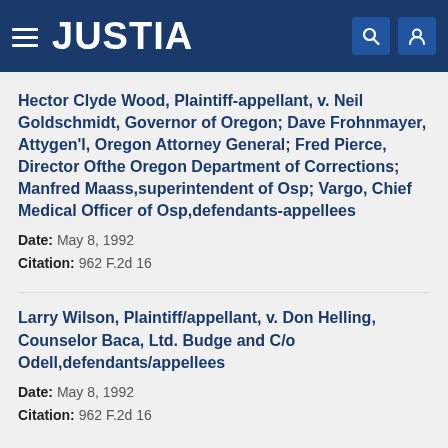JUSTIA
Hector Clyde Wood, Plaintiff-appellant, v. Neil Goldschmidt, Governor of Oregon; Dave Frohnmayer, Attygen'l, Oregon Attorney General; Fred Pierce, Director Ofthe Oregon Department of Corrections; Manfred Maass,superintendent of Osp; Vargo, Chief Medical Officer of Osp,defendants-appellees
Date: May 8, 1992
Citation: 962 F.2d 16
Larry Wilson, Plaintiff/appellant, v. Don Helling, Counselor Baca, Ltd. Budge and C/o Odell,defendants/appellees
Date: May 8, 1992
Citation: 962 F.2d 16